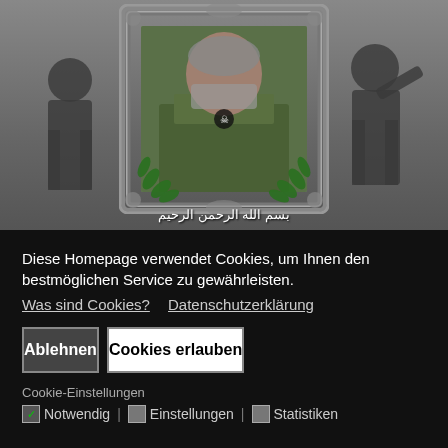[Figure (photo): A framed portrait photo of a man in military camouflage uniform with ornate silver/gray decorative frame and green laurel leaves, set against a gray background with two silhouetted figures saluting. Arabic calligraphy text at the bottom reads: بسم الله الرحمن الرحيم]
Diese Homepage verwendet Cookies, um Ihnen den bestmöglichen Service zu gewährleisten.
Was sind Cookies?   Datenschutzerklärung
Ablehnen
Cookies erlauben
Cookie-Einstellungen
✓ Notwendig | ☐ Einstellungen | ☐ Statistiken